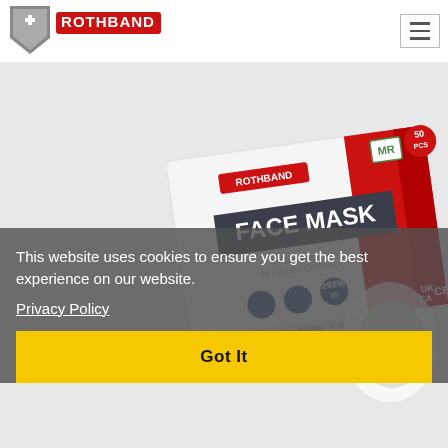[Figure (logo): Rothband logo with shield and plus symbol, red and grey text on white background]
[Figure (photo): Rothband Face Mask product packaging — white and red box, 50 PCS, MR label, FACE MASK text, icons showing ≥98%, certification marks including UK CA CE]
This website uses cookies to ensure you get the best experience on our website.
Privacy Policy
Got It